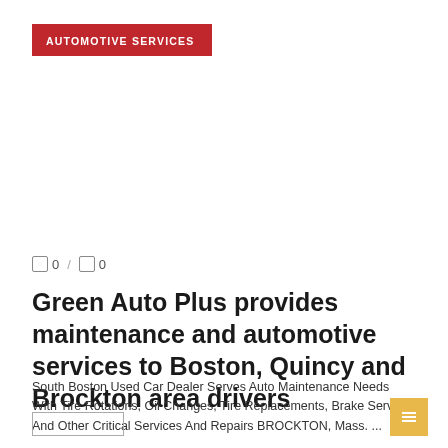AUTOMOTIVE SERVICES
0 / 0
Green Auto Plus provides maintenance and automotive services to Boston, Quincy and Brockton area drivers
South Boston Used Car Dealer Serves Auto Maintenance Needs With Tire Rotations, Oil Changes, Tire Replacements, Brake Service And Other Critical Services And Repairs BROCKTON, Mass. ...